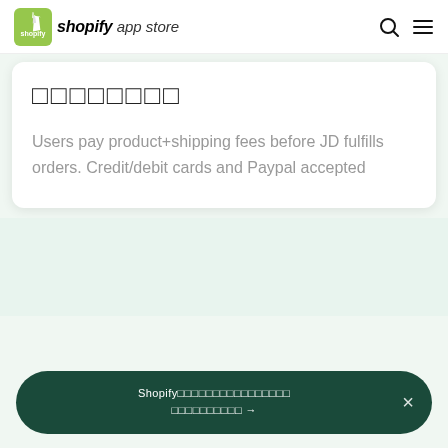shopify app store
□□□□□□□□
Users pay product+shipping fees before JD fulfills orders. Credit/debit cards and Paypal accepted
Shopify□□□□□□□□□□□□□□□□ □□□□□□□□□□ →